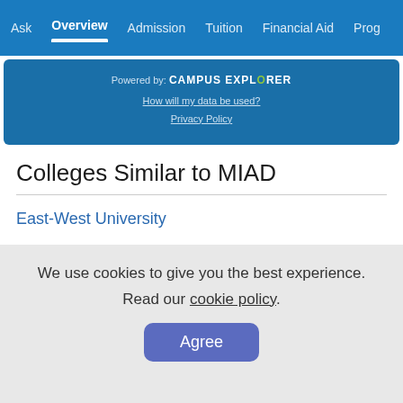Ask | Overview | Admission | Tuition | Financial Aid | Prog
[Figure (other): Campus Explorer powered-by box with links: How will my data be used? and Privacy Policy]
Colleges Similar to MIAD
East-West University
Herzing University-Madison
We use cookies to give you the best experience. Read our cookie policy.